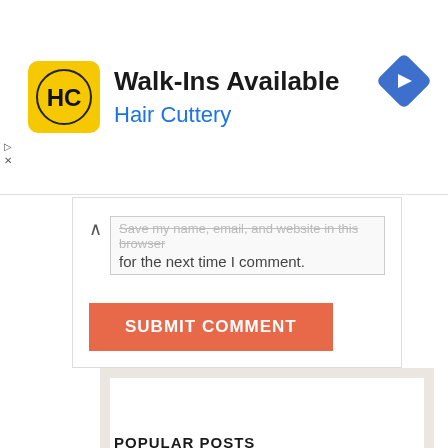[Figure (infographic): Hair Cuttery advertisement banner: yellow rounded square logo with HC letters, bold text 'Walk-Ins Available', blue subtext 'Hair Cuttery', blue diamond navigation icon on right]
Save my name, email, and website in this browser for the next time I comment.
SUBMIT COMMENT
[Figure (other): White rectangular widget area inside a beige/tan sidebar widget container]
POPULAR POSTS